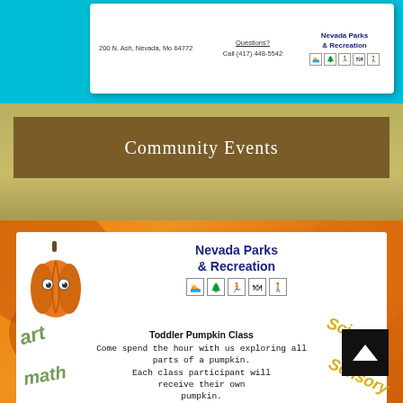[Figure (logo): Nevada Parks & Recreation logo with icons for swimming, tree, hiking, picnic, and running]
200 N. Ash, Nevada, Mo 64772
Questions?
Call (417) 448-5542
Community Events
[Figure (illustration): Cartoon pumpkin character with googly eyes and stem, alongside Nevada Parks & Recreation logo with activity icons]
Toddler Pumpkin Class
Come spend the hour with us exploring all parts of a pumpkin. Each class participant will receive their own pumpkin.
We will play learning games, decorate, explore the inside, and cook parts of the pumpkin for a tasty snack.